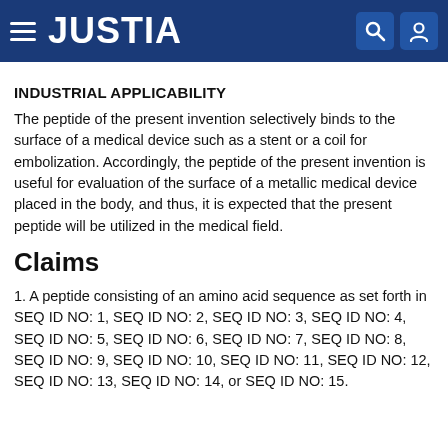JUSTIA
INDUSTRIAL APPLICABILITY
The peptide of the present invention selectively binds to the surface of a medical device such as a stent or a coil for embolization. Accordingly, the peptide of the present invention is useful for evaluation of the surface of a metallic medical device placed in the body, and thus, it is expected that the present peptide will be utilized in the medical field.
Claims
1. A peptide consisting of an amino acid sequence as set forth in SEQ ID NO: 1, SEQ ID NO: 2, SEQ ID NO: 3, SEQ ID NO: 4, SEQ ID NO: 5, SEQ ID NO: 6, SEQ ID NO: 7, SEQ ID NO: 8, SEQ ID NO: 9, SEQ ID NO: 10, SEQ ID NO: 11, SEQ ID NO: 12, SEQ ID NO: 13, SEQ ID NO: 14, or SEQ ID NO: 15.